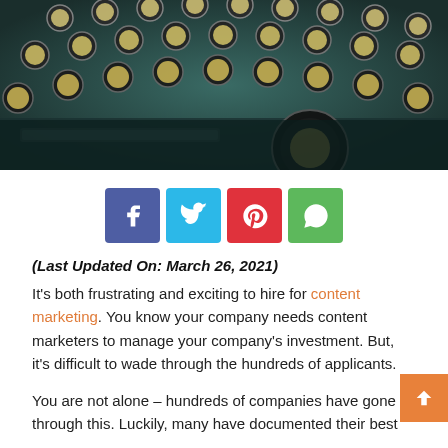[Figure (photo): Close-up photograph of vintage typewriter keys with round metal key tops, dark moody tones]
[Figure (infographic): Social sharing buttons: Facebook (blue-purple), Twitter (light blue), Pinterest (red), WhatsApp (green)]
(Last Updated On: March 26, 2021)
It's both frustrating and exciting to hire for content marketing. You know your company needs content marketers to manage your company's investment. But, it's difficult to wade through the hundreds of applicants.
You are not alone – hundreds of companies have gone through this. Luckily, many have documented their best